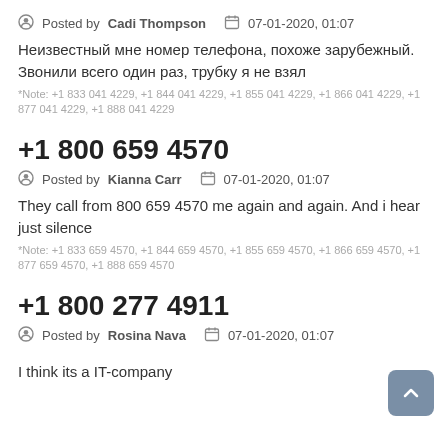Posted by Cadi Thompson   07-01-2020, 01:07
Неизвестный мне номер телефона, похоже зарубежный. Звонили всего один раз, трубку я не взял
*Note: +1 833 041 4229, +1 844 041 4229, +1 855 041 4229, +1 866 041 4229, +1 877 041 4229, +1 888 041 4229
+1 800 659 4570
Posted by Kianna Carr   07-01-2020, 01:07
They call from 800 659 4570 me again and again. And i hear just silence
*Note: +1 833 659 4570, +1 844 659 4570, +1 855 659 4570, +1 866 659 4570, +1 877 659 4570, +1 888 659 4570
+1 800 277 4911
Posted by Rosina Nava   07-01-2020, 01:07
I think its a IT-company